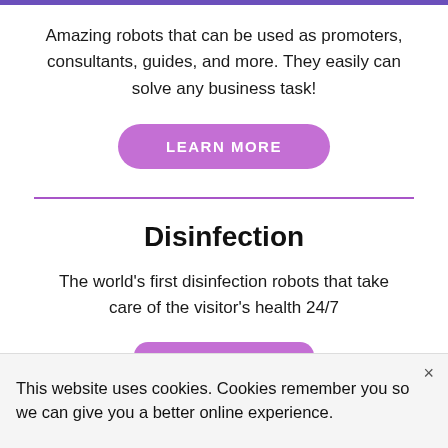Amazing robots that can be used as promoters, consultants, guides, and more. They easily can solve any business task!
LEARN MORE
Disinfection
The world's first disinfection robots that take care of the visitor's health 24/7
This website uses cookies. Cookies remember you so we can give you a better online experience.